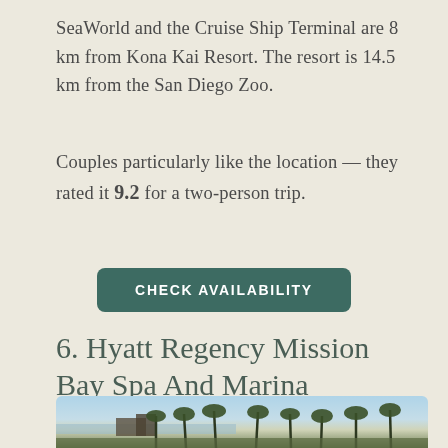SeaWorld and the Cruise Ship Terminal are 8 km from Kona Kai Resort. The resort is 14.5 km from the San Diego Zoo.
Couples particularly like the location — they rated it 9.2 for a two-person trip.
CHECK AVAILABILITY
6. Hyatt Regency Mission Bay Spa And Marina
[Figure (photo): Exterior view of Hyatt Regency Mission Bay showing palm trees and waterfront buildings under a clear sky]